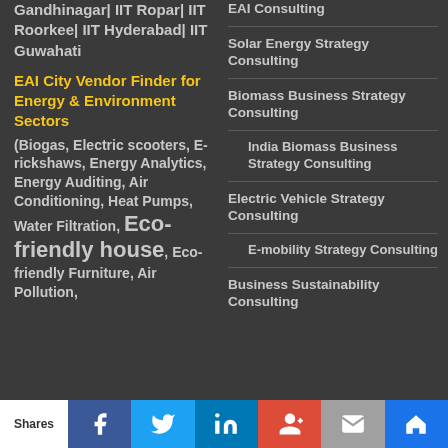Gandhinagar| IIT Ropar| IIT Roorkee| IIT Hyderabad| IIT Guwahati
EAI City Vendor Finder for Energy & Environment Sectors
(Biogas, Electric scooters, E-rickshaws, Energy Analytics, Energy Auditing, Air Conditioning, Heat Pumps, Water Filtration, Eco-friendly house, Eco-friendly Furniture, Air Pollution,
EAI Consulting
Solar Energy Strategy Consulting
Biomass Business Strategy Consulting
India Biomass Business Strategy Consulting
Electric Vehicle Strategy Consulting
E-mobility Strategy Consulting
Business Sustainability Consulting